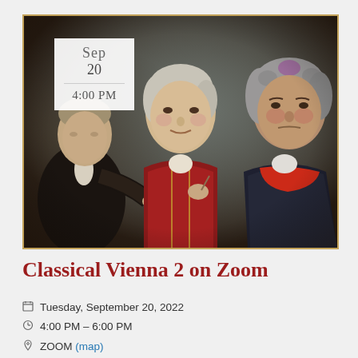[Figure (illustration): Classical painting-style portrait of three composers (historical figures) in period costume — one in red jacket (center, resembling Mozart), one with grey curly hair on the right (resembling Beethoven), and one on the left in dark coat. Overlaid with a date badge showing Sep 20 and 4:00 PM.]
Classical Vienna 2 on Zoom
Tuesday, September 20, 2022
4:00 PM – 6:00 PM
ZOOM (map)